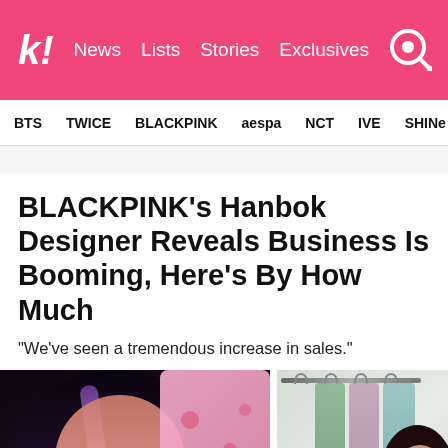k! News Lists Stories Exclusives
BTS  TWICE  BLACKPINK  aespa  NCT  IVE  SHINee
BLACKPINK's Hanbok Designer Reveals Business Is Booming, Here's By How Much
“We’ve seen a tremendous increase in sales.”
[Figure (photo): Two photos side by side: left shows a BLACKPINK member with dark hair and purple highlights wearing pink hanbok; right shows a hanbok designer in front of clothing rack with colorful hanbok garments.]